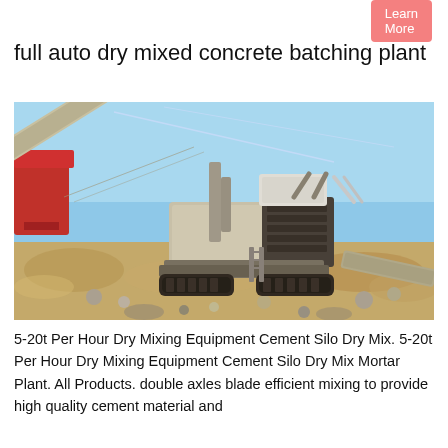Learn More
full auto dry mixed concrete batching plant
[Figure (photo): A large mobile crushing/concrete batching plant machine on a construction/quarry site with blue sky background. The machine is heavy industrial equipment with a conveyor belt at an angle, crawler tracks, and various mechanical components.]
5-20t Per Hour Dry Mixing Equipment Cement Silo Dry Mix. 5-20t Per Hour Dry Mixing Equipment Cement Silo Dry Mix Mortar Plant. All Products. double axles blade efficient mixing to provide high quality cement material and